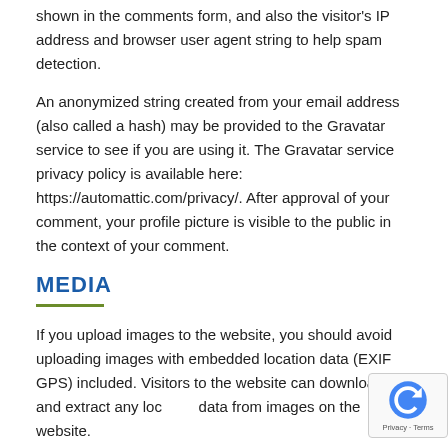shown in the comments form, and also the visitor's IP address and browser user agent string to help spam detection.
An anonymized string created from your email address (also called a hash) may be provided to the Gravatar service to see if you are using it. The Gravatar service privacy policy is available here: https://automattic.com/privacy/. After approval of your comment, your profile picture is visible to the public in the context of your comment.
MEDIA
If you upload images to the website, you should avoid uploading images with embedded location data (EXIF GPS) included. Visitors to the website can download and extract any location data from images on the website.